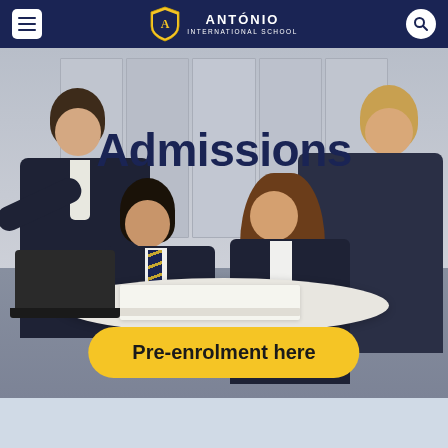António International School — navigation bar with hamburger menu, shield logo, school name ANTÓNIO / INTERNATIONAL SCHOOL, and search icon
[Figure (photo): Four secondary school students in navy uniforms with striped ties gathered around a round white table, looking at open textbooks. Two boys standing (one leaning over laptop on left, one on right), two girls seated. Background shows lockers. Text 'Admissions' overlaid in large dark navy font. Yellow pill-shaped button reading 'Pre-enrolment here' at bottom center of image.]
Admissions
Pre-enrolment here